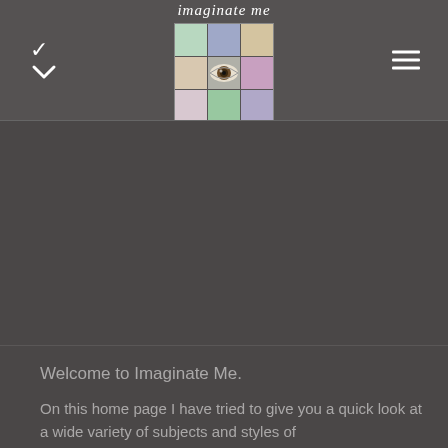[Figure (logo): Imaginate Me logo with grid mosaic of eye and colored squares]
Welcome to Imaginate Me.
On this home page I have tried to give you a quick look at a wide variety of subjects and styles of